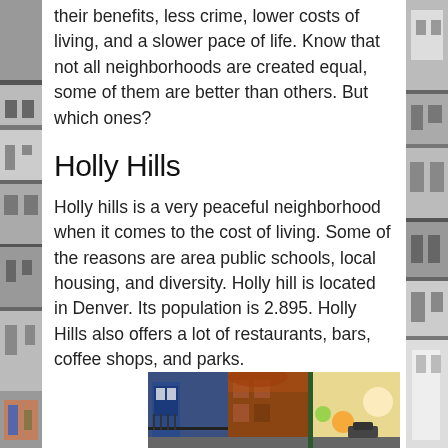their benefits, less crime, lower costs of living, and a slower pace of life. Know that not all neighborhoods are created equal, some of them are better than others. But which ones?
Holly Hills
Holly hills is a very peaceful neighborhood when it comes to the cost of living. Some of the reasons are area public schools, local housing, and diversity. Holly hill is located in Denver. Its population is 2.895. Holly Hills also offers a lot of restaurants, bars, coffee shops, and parks.
[Figure (photo): Street-level photo of a neighborhood with brick buildings, a blue door/storefront, autumn foliage, and warm bokeh lighting effects on the right side.]